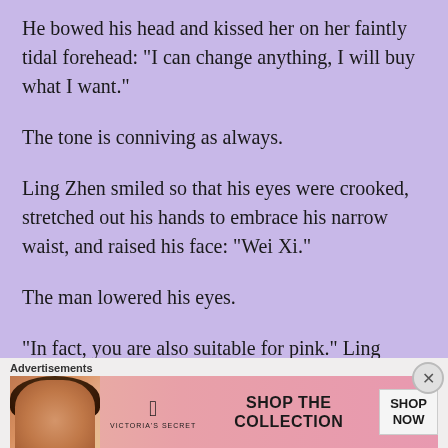He bowed his head and kissed her on her faintly tidal forehead: “I can change anything, I will buy what I want.”
The tone is conniving as always.
Ling Zhen smiled so that his eyes were crooked, stretched out his hands to embrace his narrow waist, and raised his face: “Wei Xi.”
The man lowered his eyes.
“In fact, you are also suitable for pink.” Ling Zhen said.
[Figure (other): Victoria's Secret advertisement banner with a model, VS logo, 'SHOP THE COLLECTION' text, and a 'SHOP NOW' button on a pink gradient background.]